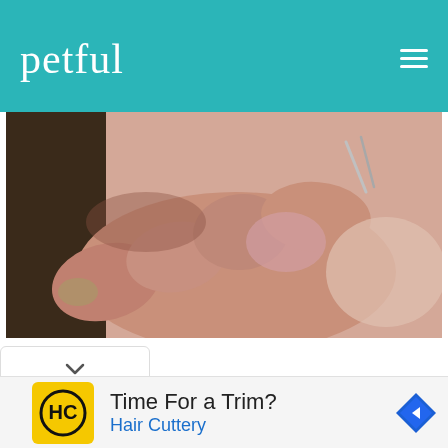petful
[Figure (photo): Close-up photo of a hand holding what appears to be scissors or a grooming tool near pet fur/skin, shown from above on a light background.]
[Figure (other): Advertisement banner: HC (Hair Cuttery) logo in yellow square, text 'Time For a Trim?' and 'Hair Cuttery' in blue, with a blue diamond navigation icon on the right.]